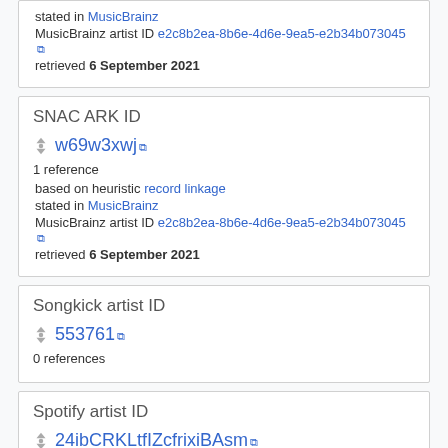stated in MusicBrainz
MusicBrainz artist ID e2c8b2ea-8b6e-4d6e-9ea5-e2b34b073045
retrieved 6 September 2021
SNAC ARK ID
w69w3xwj
1 reference
based on heuristic record linkage
stated in MusicBrainz
MusicBrainz artist ID e2c8b2ea-8b6e-4d6e-9ea5-e2b34b073045
retrieved 6 September 2021
Songkick artist ID
553761
0 references
Spotify artist ID
24ibCRKLtfIZcfrixiBAsm